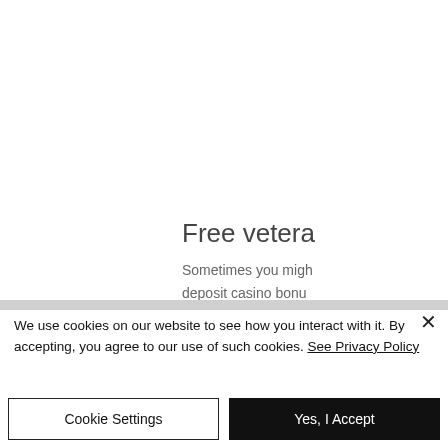Free vetera
Sometimes you migh
deposit casino bonu
We use cookies on our website to see how you interact with it. By accepting, you agree to our use of such cookies. See Privacy Policy
Cookie Settings
Yes, I Accept